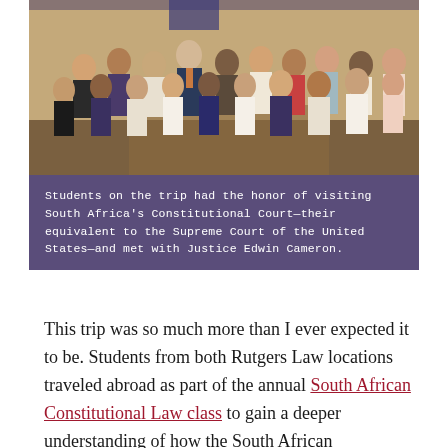[Figure (photo): Group photo of students and a professor standing together indoors, appearing to be at a formal legal institution with brick walls and flags in the background.]
Students on the trip had the honor of visiting South Africa's Constitutional Court—their equivalent to the Supreme Court of the United States—and met with Justice Edwin Cameron.
This trip was so much more than I ever expected it to be. Students from both Rutgers Law locations traveled abroad as part of the annual South African Constitutional Law class to gain a deeper understanding of how the South African Constitution is shaping its response to challenges facing the country.